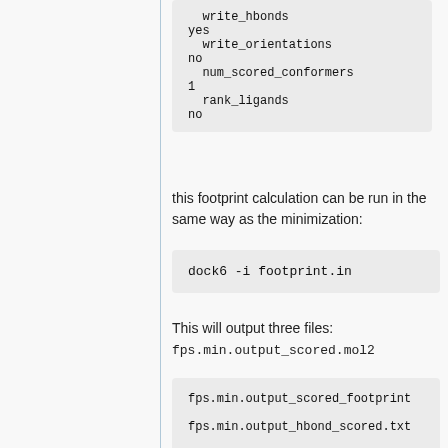write_hbonds
yes
  write_orientations
no
  num_scored_conformers
1
  rank_ligands
no
this footprint calculation can be run in the same way as the minimization:
dock6 -i footprint.in
This will output three files:
fps.min.output_scored.mol2
fps.min.output_scored_footprint
fps.min.output_hbond_scored.txt